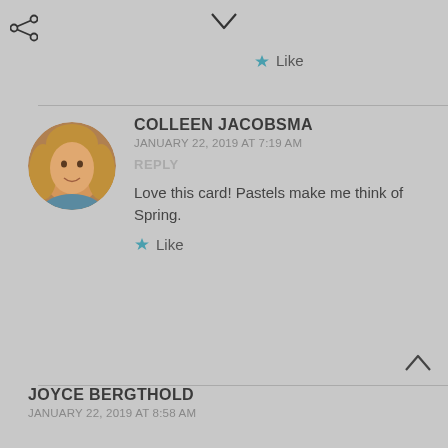[Figure (other): Share icon (arrow pointing left with dots) in top-left corner]
[Figure (other): Chevron/caret down icon at top center]
Like
COLLEEN JACOBSMA
JANUARY 22, 2019 AT 7:19 AM
REPLY
Love this card! Pastels make me think of Spring.
Like
[Figure (other): Chevron/caret up icon at bottom right]
JOYCE BERGTHOLD
JANUARY 22, 2019 AT 8:58 AM